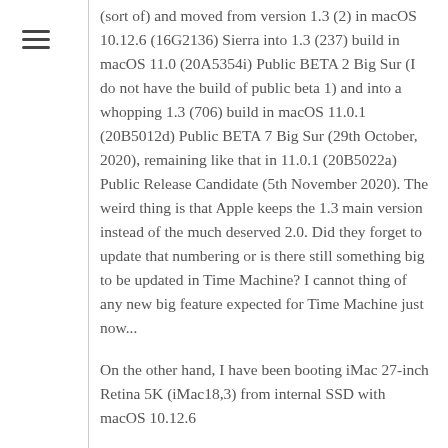(sort of) and moved from version 1.3 (2) in macOS 10.12.6 (16G2136) Sierra into 1.3 (237) build in macOS 11.0 (20A5354i) Public BETA 2 Big Sur (I do not have the build of public beta 1) and into a whopping 1.3 (706) build in macOS 11.0.1 (20B5012d) Public BETA 7 Big Sur (29th October, 2020), remaining like that in 11.0.1 (20B5022a) Public Release Candidate (5th November 2020). The weird thing is that Apple keeps the 1.3 main version instead of the much deserved 2.0. Did they forget to update that numbering or is there still something big to be updated in Time Machine? I cannot thing of any new big feature expected for Time Machine just now...
On the other hand, I have been booting iMac 27-inch Retina 5K (iMac18,3) from internal SSD with macOS 10.12.6